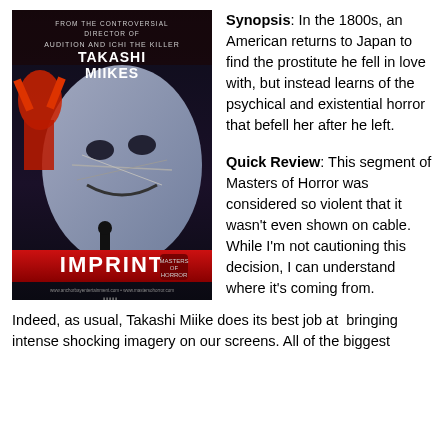[Figure (photo): Movie poster for 'Imprint' directed by Takashi Miikes, showing a horror film poster with a distorted pale face and red-dressed figure, with text 'FROM THE CONTROVERSIAL DIRECTOR OF AUDITION AND ICHI THE KILLER TAKASHI MIIKES IMPRINT']
Synopsis: In the 1800s, an American returns to Japan to find the prostitute he fell in love with, but instead learns of the psychical and existential horror that befell her after he left.
Quick Review: This segment of Masters of Horror was considered so violent that it wasn't even shown on cable. While I'm not cautioning this decision, I can understand where it's coming from.
Indeed, as usual, Takashi Miike does its best job at bringing intense shocking imagery on our screens. All of the biggest